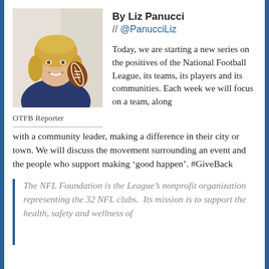[Figure (photo): Headshot photo of a blonde woman smiling, holding a football, wearing a dark blue top, indoor background.]
OTFB Reporter
By Liz Panucci
// @PanucciLiz
Today, we are starting a new series on the positives of the National Football League, its teams, its players and its communities. Each week we will focus on a team, along with a community leader, making a difference in their city or town. We will discuss the movement surrounding an event and the people who support making ‘good happen’. #GiveBack
The NFL Foundation is the League’s nonprofit organization representing the 32 NFL clubs.  Its mission is to support the health, safety and wellness of